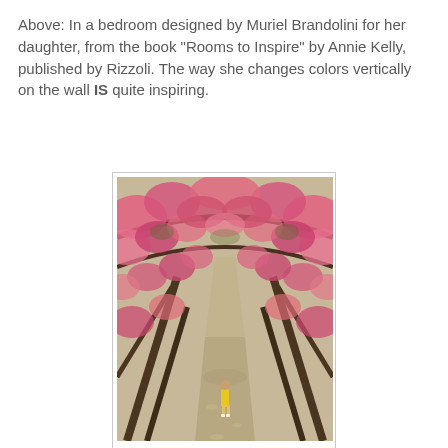Above: In a bedroom designed by Muriel Brandolini for her daughter, from the book "Rooms to Inspire" by Annie Kelly, published by Rizzoli. The way she changes colors vertically on the wall IS quite inspiring.
[Figure (photo): A photo of a garden path or stairway flanked by overarching cherry blossom or crabapple trees with abundant pink flowers. A lone figure in a yellow dress stands in the middle of the path, viewed from above.]